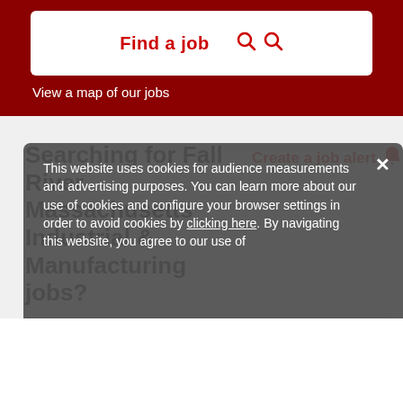[Figure (screenshot): Job search website screenshot with dark red header, search box with 'Find a job' text and search icons, and a map link]
View a map of our jobs
Searching for Fall River Massachusetts Industrial & Manufacturing jobs?
Create a job alert 🔔
This website uses cookies for audience measurements and advertising purposes. You can learn more about our use of cookies and configure your browser settings in order to avoid cookies by clicking here. By navigating this website, you agree to our use of cookies.